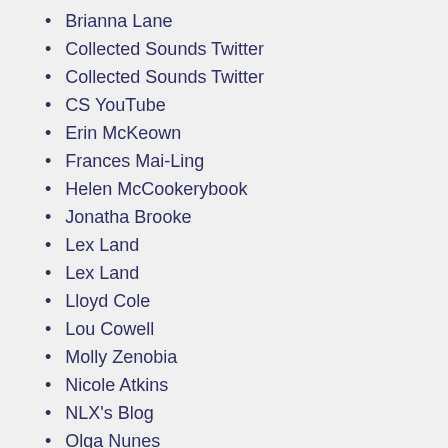Brianna Lane
Collected Sounds Twitter
Collected Sounds Twitter
CS YouTube
Erin McKeown
Frances Mai-Ling
Helen McCookerybook
Jonatha Brooke
Lex Land
Lex Land
Lloyd Cole
Lou Cowell
Molly Zenobia
Nicole Atkins
NLX's Blog
Olga Nunes
Sarah Slean
Terami Hirsch
The Endless